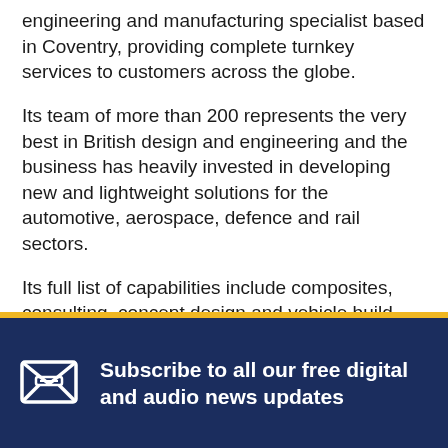engineering and manufacturing specialist based in Coventry, providing complete turnkey services to customers across the globe.
Its team of more than 200 represents the very best in British design and engineering and the business has heavily invested in developing new and lightweight solutions for the automotive, aerospace, defence and rail sectors.
Its full list of capabilities include composites, consulting, concept design and vehicle build, design and engineering, electronics, finite element analysis, interior systems development and supply and niche vehicle build.
www.penso.co.uk
Subscribe to all our free digital and audio news updates